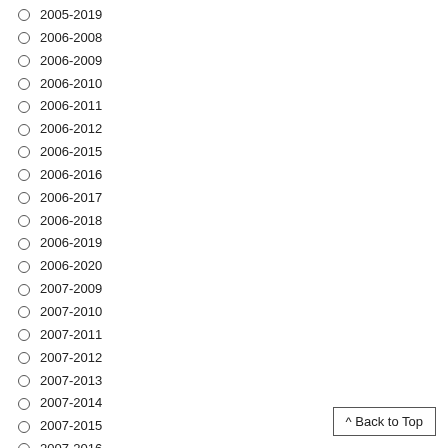2005-2019
2006-2008
2006-2009
2006-2010
2006-2011
2006-2012
2006-2015
2006-2016
2006-2017
2006-2018
2006-2019
2006-2020
2007-2009
2007-2010
2007-2011
2007-2012
2007-2013
2007-2014
2007-2015
2007-2016
2007-2017
2007-2018
2007-2019
2008-2009
2008-2010
^ Back to Top